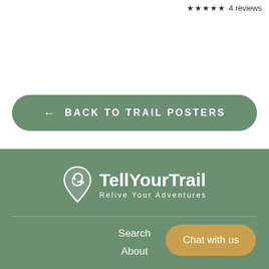★★★★★  4 reviews
← BACK TO TRAIL POSTERS
[Figure (logo): TellYourTrail logo with circular arrow icon and tagline 'Relive Your Adventures' on green background]
Search
About
Chat with us